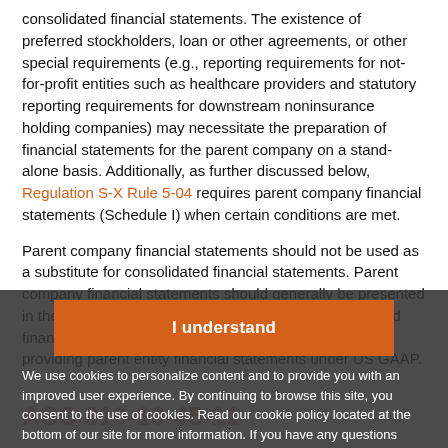consolidated financial statements. The existence of preferred stockholders, loan or other agreements, or other special requirements (e.g., reporting requirements for not-for-profit entities such as healthcare providers and statutory reporting requirements for downstream noninsurance holding companies) may necessitate the preparation of financial statements for the parent company on a stand-alone basis. Additionally, as further discussed below, Regulation S-X Rule 5-04 requires parent company financial statements (Schedule I) when certain conditions are met.
Parent company financial statements should not be used as a substitute for consolidated financial statements. Parent company financial statements should generally be presented in the same report with the reporting entity's consolidated financial statements. The SEC staff has indicated that providing parent entity financial statements under US GAAP.
[Figure (screenshot): Cookie consent overlay with orange 'I understand' button and cookie policy text mentioning us_viewpoint.support@pwc.com, overlaying partially visible text about ASC 810-10-45-11 and indented block text about parent entity financial statements in addition to consolidated financial statements.]